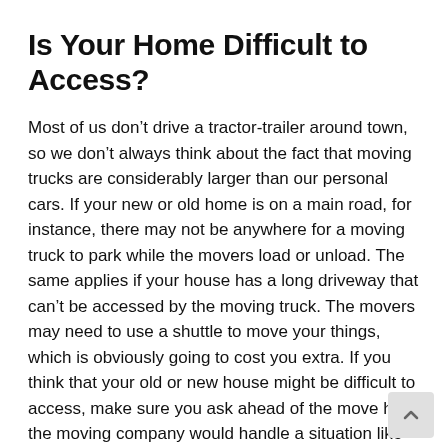Is Your Home Difficult to Access?
Most of us don’t drive a tractor-trailer around town, so we don’t always think about the fact that moving trucks are considerably larger than our personal cars. If your new or old home is on a main road, for instance, there may not be anywhere for a moving truck to park while the movers load or unload. The same applies if your house has a long driveway that can’t be accessed by the moving truck. The movers may need to use a shuttle to move your things, which is obviously going to cost you extra. If you think that your old or new house might be difficult to access, make sure you ask ahead of the move how the moving company would handle a situation like this and how much extra they would charge you.
Make Sure the Ch…